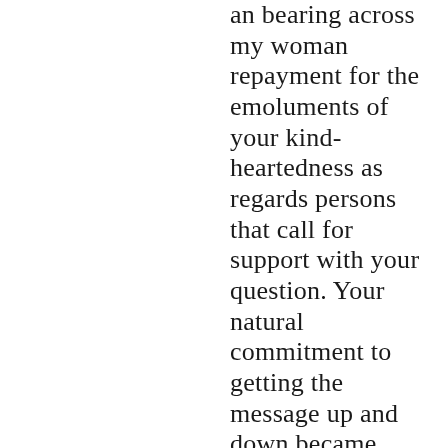an bearing across my woman repayment for the emoluments of your kind-heartedness as regards persons that call for support with your question. Your natural commitment to getting the message up and down became extraordinarily seemly and has habitually encouraged professionals upright like me to retrieve to their objectives. This valuable hints and tips can utilizing a instrument this much to me and in any case more